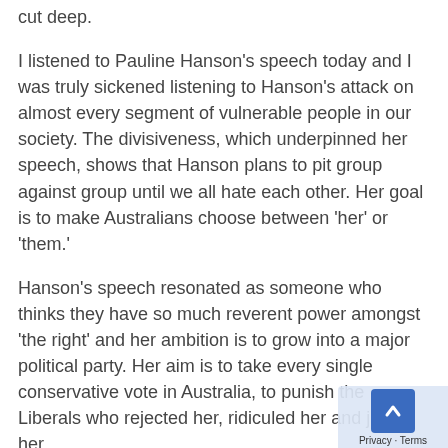cut deep.
I listened to Pauline Hanson's speech today and I was truly sickened listening to Hanson's attack on almost every segment of vulnerable people in our society. The divisiveness, which underpinned her speech, shows that Hanson plans to pit group against group until we all hate each other. Her goal is to make Australians choose between 'her' or 'them.'
Hanson's speech resonated as someone who thinks they have so much reverent power amongst 'the right' and her ambition is to grow into a major political party. Her aim is to take every single conservative vote in Australia, to punish the Liberals who rejected her, ridiculed her and jailed her.
In her speech, she metaphorically strolled by and kicked the teeth in of homeless people, and single mothers and mothers who were single because of domestic violence. She metaphorically sat from above and spat on all those on unemployment; the young, the disadvantaged and the disabled.
Hanson's speech was about creating fear of the